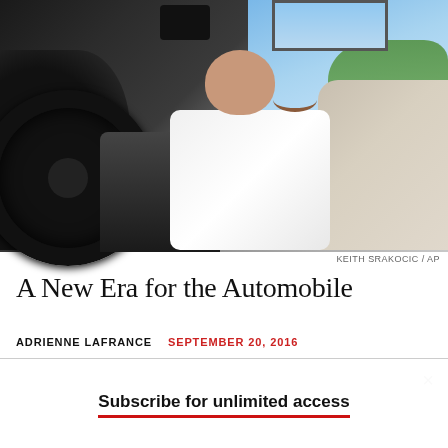[Figure (photo): Interior view of a car with a smiling man in a white shirt sitting in the driver's seat, visible from inside the vehicle showing the steering wheel and center console. Blue sky and trees visible in the background through open door or window.]
KEITH SRAKOCIC / AP
A New Era for the Automobile
ADRIENNE LAFRANCE   SEPTEMBER 20, 2016
Subscribe for unlimited access